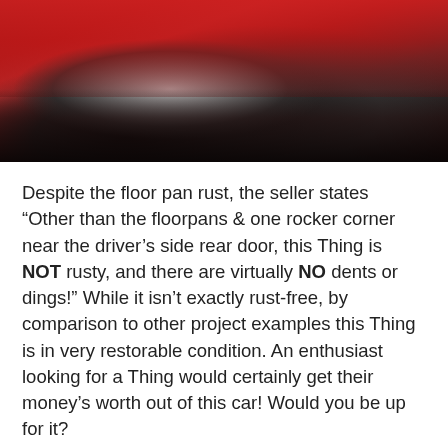[Figure (photo): Close-up photograph of the front end of a red vintage Volkswagen Thing, showing the headlight, front bumper, tire, and dark garage background.]
Despite the floor pan rust, the seller states “Other than the floorpans & one rocker corner near the driver’s side rear door, this Thing is NOT rusty, and there are virtually NO dents or dings!” While it isn’t exactly rust-free, by comparison to other project examples this Thing is in very restorable condition. An enthusiast looking for a Thing would certainly get their money’s worth out of this car! Would you be up for it?
GERMAN
BARN FINDS
VOLKSWAGEN